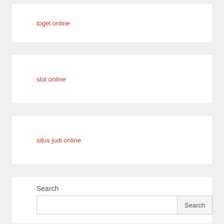togel online
slot online
situs judi online
Search